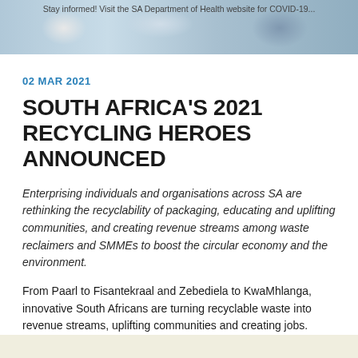[Figure (photo): Partial header image showing recycling-related imagery with people and materials, partially cropped at top]
Stay informed! Visit the SA Department of Health website for COVID-...
02 MAR 2021
SOUTH AFRICA'S 2021 RECYCLING HEROES ANNOUNCED
Enterprising individuals and organisations across SA are rethinking the recyclability of packaging, educating and uplifting communities, and creating revenue streams among waste reclaimers and SMMEs to boost the circular economy and the environment.
From Paarl to Fisantekraal and Zebediela to KwaMhlanga, innovative South Africans are turning recyclable waste into revenue streams, uplifting communities and creating jobs.
Among the eco-warriors making a tangible impact on sustainability and the circular economy are 13 individuals and organisations who have been lauded for their environmental efforts by the national polyethylene terephthalate (PET) Extended Producer Responsibility body, PETCO.